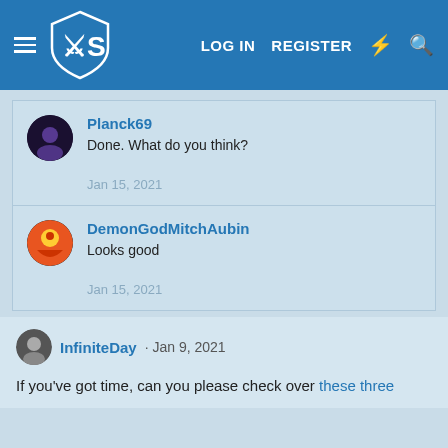YS | LOG IN | REGISTER
Planck69
Done. What do you think?
Jan 15, 2021
DemonGodMitchAubin
Looks good
Jan 15, 2021
InfiniteDay · Jan 9, 2021
If you've got time, can you please check over these three